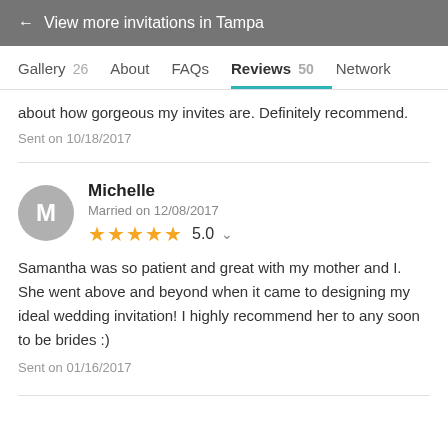← View more invitations in Tampa
Gallery 26   About   FAQs   Reviews 50   Network
about how gorgeous my invites are. Definitely recommend.
Sent on 10/18/2017
Michelle
Married on 12/08/2017
★★★★★ 5.0
Samantha was so patient and great with my mother and I. She went above and beyond when it came to designing my ideal wedding invitation! I highly recommend her to any soon to be brides :)
Sent on 01/16/2017